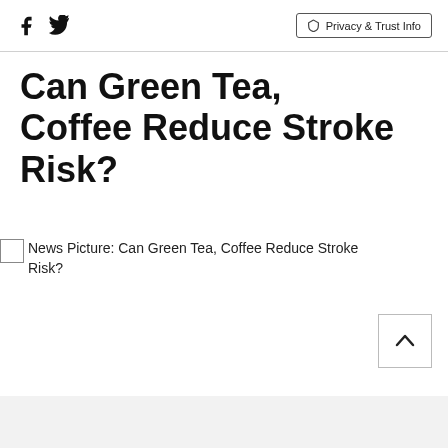Social icons (Facebook, Twitter) | Privacy & Trust Info
Can Green Tea, Coffee Reduce Stroke Risk?
News Picture: Can Green Tea, Coffee Reduce Stroke Risk?
ADVERTISEMENT